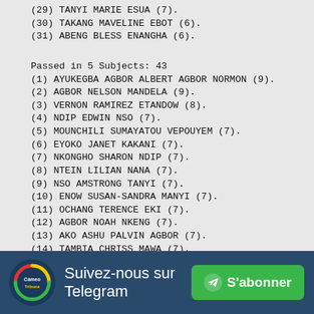(29) TANYI MARIE ESUA (7).
(30) TAKANG MAVELINE EBOT (6).
(31) ABENG BLESS ENANGHA (6).
Passed in 5 Subjects: 43
(1) AYUKEGBA AGBOR ALBERT AGBOR NORMON (9).
(2) AGBOR NELSON MANDELA (9).
(3) VERNON RAMIREZ ETANDOW (8).
(4) NDIP EDWIN NSO (7).
(5) MOUNCHILI SUMAYATOU VEPOUYEM (7).
(6) EYOKO JANET KAKANI (7).
(7) NKONGHO SHARON NDIP (7).
(8) NTEIN LILIAN NANA (7).
(9) NSO AMSTRONG TANYI (7).
(10) ENOW SUSAN-SANDRA MANYI (7).
(11) OCHANG TERENCE EKI (7).
(12) AGBOR NOAH NKENG (7).
(13) AKO ASHU PALVIN AGBOR (7).
(14) TAMBIA CHRISS MAWA (7).
(15) BITAH DEBORAH NKUMYU (7).
(16) EYONG RUBEN NCHAGBE (7).
Suivez-nous sur Telegram  S'abonner